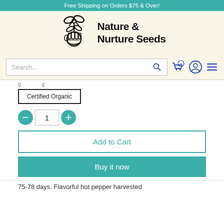Free Shipping on Orders $75 & Over!
[Figure (logo): Nature & Nurture Seeds logo with hand holding plant and bow graphic]
[Figure (screenshot): Search bar with search icon, cart icon with 0 badge, profile icon, and hamburger menu icon]
g ... g
Certified Organic
1
Add to Cart
Buy it now
75-78 days. Flavorful hot pepper harvested